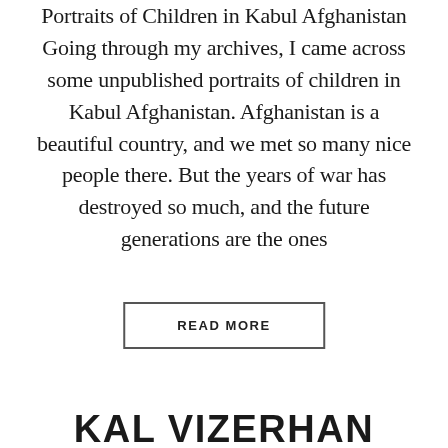Portraits of Children in Kabul Afghanistan Going through my archives, I came across some unpublished portraits of children in Kabul Afghanistan. Afghanistan is a beautiful country, and we met so many nice people there. But the years of war has destroyed so much, and the future generations are the ones
READ MORE
KAL VIZERHAN